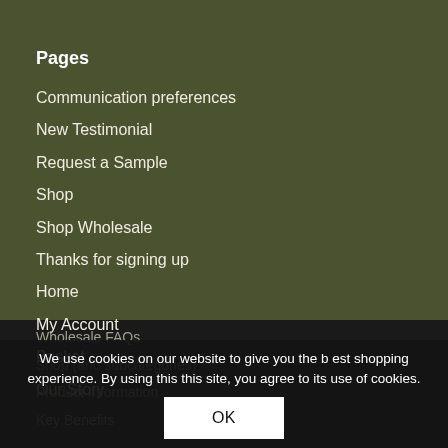Pages
Communication preferences
New Testimonial
Request a Sample
Shop
Shop Wholesale
Thanks for signing up
Home
My Account
Basket
Our Story
Wholesale FAQs
Shop (and subcategories)
Product Information
Key Benefits
We use cookies on our website to give you the b est shopping experience. By using this this site, you agree to its use of cookies.